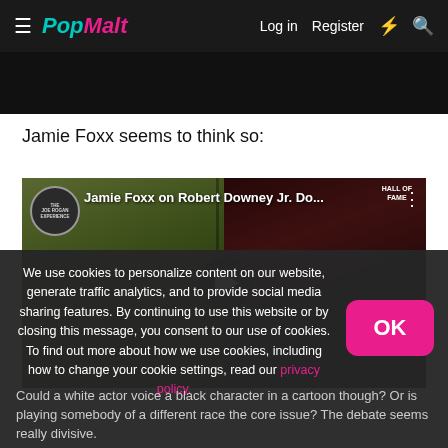PopMalt — Log in  Register
Jamie Foxx seems to think so:
[Figure (screenshot): YouTube video thumbnail showing Jamie Foxx on Robert Downey Jr. Do... — split image with a soldier on the left and Jamie Foxx in a Hall of Fame hat on the right, with a play button in the center. Joe Rogan Experience logo in top-left corner.]
We use cookies to personalize content on our website, generate traffic analytics, and to provide social media sharing features. By continuing to use this website or by closing this message, you consent to our use of cookies. To find out more about how we use cookies, including how to change your cookie settings, read our privacy policy.
Could a white actor voice a black character in a cartoon though? Or is playing somebody of a different race the core issue? The debate seems really divisive.